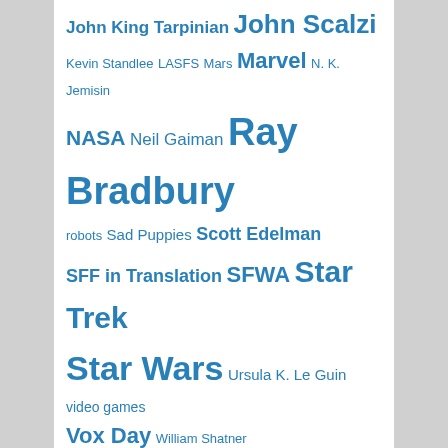John King Tarpinian John Scalzi Kevin Standlee LASFS Mars Marvel N. K. Jemisin NASA Neil Gaiman Ray Bradbury robots Sad Puppies Scott Edelman SFF in Translation SFWA Star Trek Star Wars Ursula K. Le Guin video games Vox Day William Shatner
FEEDSPOT "TOP 50 SCIENCE FICTION BLOGS AND WEBSITES FOR SCI-FI FANS"
[Figure (illustration): Gold medal with red ribbon awarded for Top 50 Science Fiction blogs, showing a trophy icon and text AWARDED TOP 50 SCIENCE on the medal face]